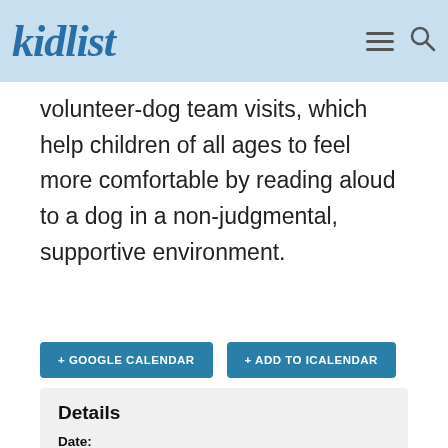kidlist
volunteer-dog team visits, which help children of all ages to feel more comfortable by reading aloud to a dog in a non-judgmental, supportive environment.
+ GOOGLE CALENDAR
+ ADD TO ICALENDAR
Details
Date: September 16, 2017
Time: 8:00 am - 12:00 pm
Cost: $10 - $40